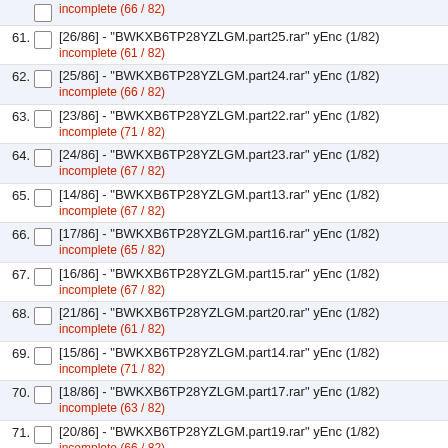incomplete (66 / 82)
61. [26/86] - "BWKXB6TP28YZLGM.part25.rar" yEnc (1/82)
incomplete (61 / 82)
62. [25/86] - "BWKXB6TP28YZLGM.part24.rar" yEnc (1/82)
incomplete (66 / 82)
63. [23/86] - "BWKXB6TP28YZLGM.part22.rar" yEnc (1/82)
incomplete (71 / 82)
64. [24/86] - "BWKXB6TP28YZLGM.part23.rar" yEnc (1/82)
incomplete (67 / 82)
65. [14/86] - "BWKXB6TP28YZLGM.part13.rar" yEnc (1/82)
incomplete (67 / 82)
66. [17/86] - "BWKXB6TP28YZLGM.part16.rar" yEnc (1/82)
incomplete (65 / 82)
67. [16/86] - "BWKXB6TP28YZLGM.part15.rar" yEnc (1/82)
incomplete (67 / 82)
68. [21/86] - "BWKXB6TP28YZLGM.part20.rar" yEnc (1/82)
incomplete (61 / 82)
69. [15/86] - "BWKXB6TP28YZLGM.part14.rar" yEnc (1/82)
incomplete (71 / 82)
70. [18/86] - "BWKXB6TP28YZLGM.part17.rar" yEnc (1/82)
incomplete (63 / 82)
71. [20/86] - "BWKXB6TP28YZLGM.part19.rar" yEnc (1/82)
incomplete (66 / 82)
72. [22/86] - "BWKXB6TP28YZLGM.part21.rar" yEnc (1/82)
incomplete (72 / 82)
73. [19/86] - "BWKXB6TP28YZLGM.part18.rar" yEnc (1/82)
incomplete (62 / 82)
74. [13/86] - "BWKXB6TP28YZLGM.part12.rar" yEnc (1/82)
incomplete (63 / 82)